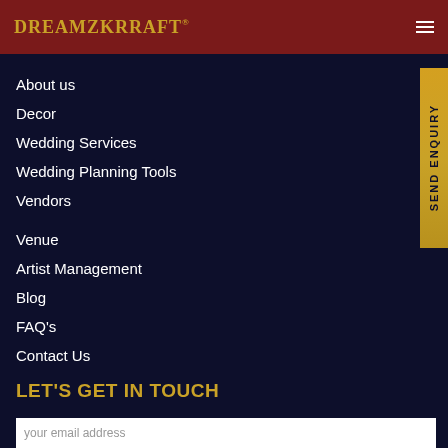DreamzKrraft®
About us
Decor
Wedding Services
Wedding Planning Tools
Vendors
Venue
Artist Management
Blog
FAQ's
Contact Us
LET'S GET IN TOUCH
Subscribe to know about our latest news, products and special offers just for subscribers.